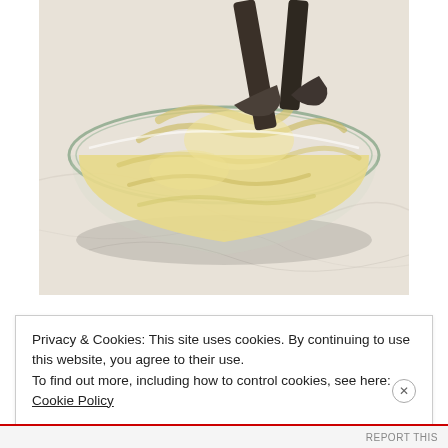[Figure (photo): A glass bowl viewed from above containing creamy pale yellow batter or dough being mixed with a dark spatula, on a light marble/stone surface.]
Privacy & Cookies: This site uses cookies. By continuing to use this website, you agree to their use.
To find out more, including how to control cookies, see here: Cookie Policy
Close and accept